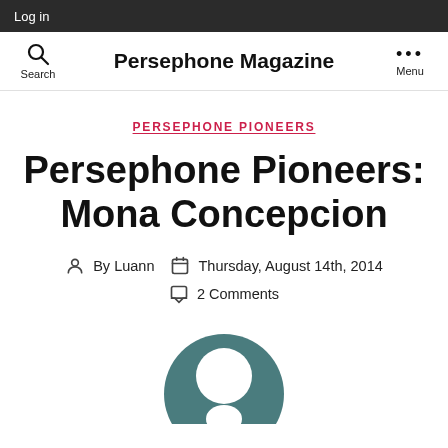Log in
Persephone Magazine | Search | Menu
PERSEPHONE PIONEERS
Persephone Pioneers: Mona Concepcion
By Luann | Thursday, August 14th, 2014 | 2 Comments
[Figure (illustration): Partial circular avatar/profile image silhouette in teal/dark teal color, cropped at bottom of page]